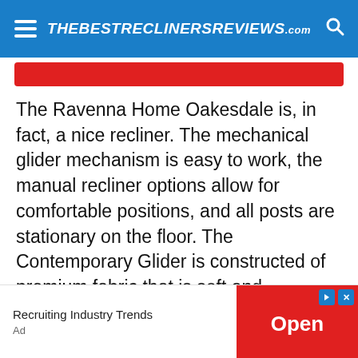THEBESTRECLINERSREVIEWS.com
The Ravenna Home Oakesdale is, in fact, a nice recliner. The mechanical glider mechanism is easy to work, the manual recliner options allow for comfortable positions, and all posts are stationary on the floor. The Contemporary Glider is constructed of premium fabric that is soft and breathable. The design and construction are very modern and stable in every aspect.
A well-designed recline mechanism helps you accommodate your best position while rocking or
[Figure (other): Advertisement banner showing 'Recruiting Industry Trends' with an Open button in red]